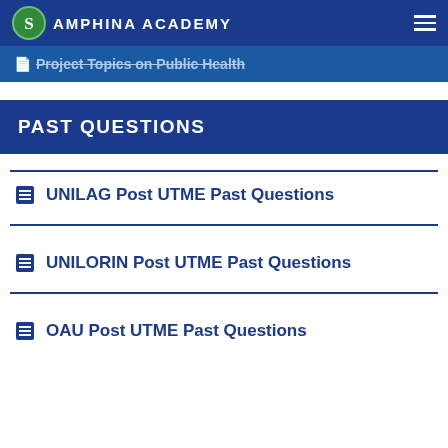SAMPHINA ACADEMY
Project Topics on Public Health
PAST QUESTIONS
UNILAG Post UTME Past Questions
UNILORIN Post UTME Past Questions
OAU Post UTME Past Questions